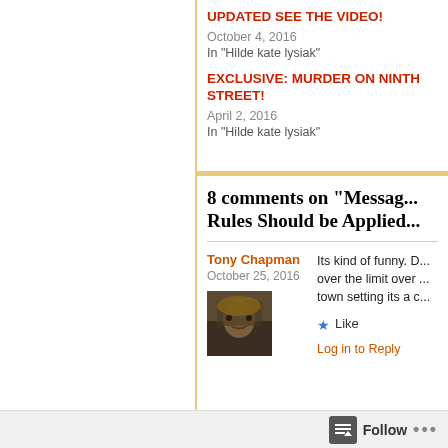UPDATED SEE THE VIDEO!
October 4, 2016
In "Hilde kate lysiak"
EXCLUSIVE: MURDER ON NINTH STREET!
April 2, 2016
In "Hilde kate lysiak"
8 comments on “Messag... Rules Should be Applied...
Tony Chapman
October 25, 2016
Its kind of funny. D... over the limit over ... town setting its a c...
★ Like
Log in to Reply
Follow ...